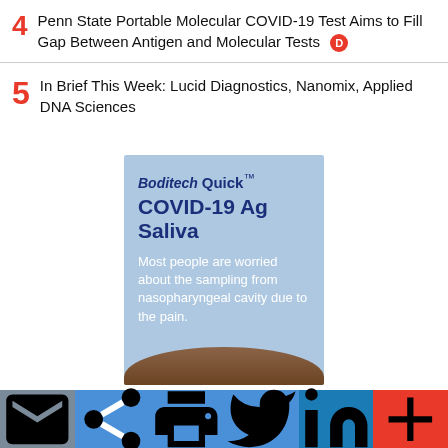4 Penn State Portable Molecular COVID-19 Test Aims to Fill Gap Between Antigen and Molecular Tests
5 In Brief This Week: Lucid Diagnostics, Nanomix, Applied DNA Sciences
[Figure (photo): Advertisement for Boditech Quick COVID-19 Ag Saliva test on a light blue background. Text reads: Boditech Quick (trademark), COVID-19 Ag Saliva, Most people are worried about the sampling from nasopharyngeal cavity due to the pain.]
Email | Share | Print | Twitter | LinkedIn | More